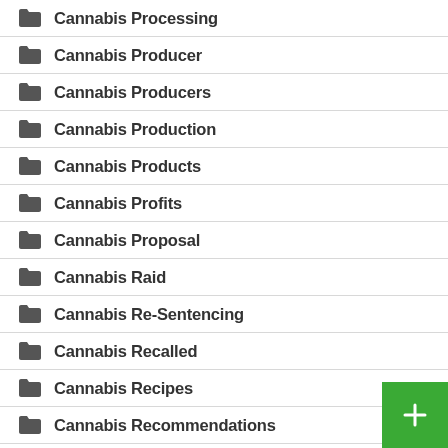Cannabis Processing
Cannabis Producer
Cannabis Producers
Cannabis Production
Cannabis Products
Cannabis Profits
Cannabis Proposal
Cannabis Raid
Cannabis Re-Sentencing
Cannabis Recalled
Cannabis Recipes
Cannabis Recommendations
Cannabis Recs